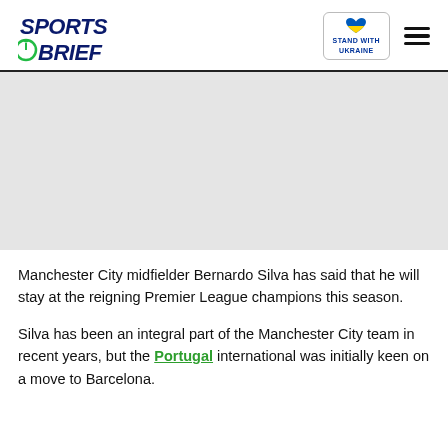Sports Brief | Stand with Ukraine
[Figure (photo): Gray placeholder image area representing an article photo]
Manchester City midfielder Bernardo Silva has said that he will stay at the reigning Premier League champions this season.
Silva has been an integral part of the Manchester City team in recent years, but the Portugal international was initially keen on a move to Barcelona.